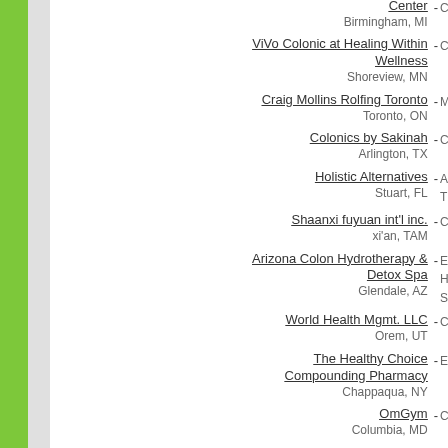Center - Birmingham, MI
ViVo Colonic at Healing Within Wellness - C - Shoreview, MN
Craig Mollins Rolfing Toronto - M - Toronto, ON
Colonics by Sakinah - C - Arlington, TX
Holistic Alternatives - A T - Stuart, FL
Shaanxi fuyuan int'l inc. - C - xi'an, TAM
Arizona Colon Hydrotherapy & Detox Spa - E H S - Glendale, AZ
World Health Mgmt. LLC - C - Orem, UT
The Healthy Choice Compounding Pharmacy - E - Chappaqua, NY
OmGym - C - Columbia, MD
Sierra EEG: Neurofeedback Therapy -